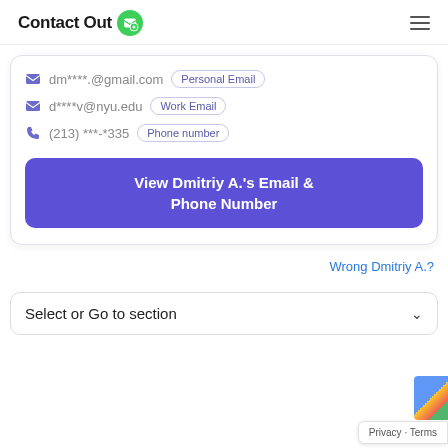ContactOut
dm****.@gmail.com  Personal Email
d****v@nyu.edu  Work Email
(213) ***-*335  Phone number
View Dmitriy A.'s Email & Phone Number
Wrong Dmitriy A.?
Select or Go to section
Privacy · Terms